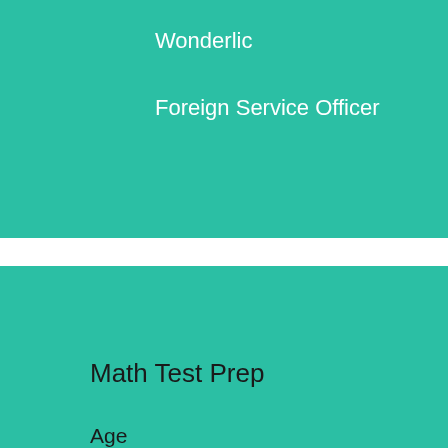Wonderlic
Foreign Service Officer
Online Courses
Food Handler Certification
Food Safety Certificate
Food Protection Manager
Math Test Prep
Age